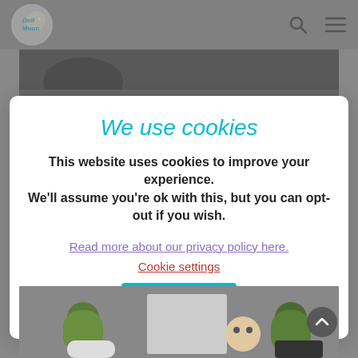[Figure (screenshot): Website header with Doll Moon logo, search icon, and hamburger menu on grey background]
[Figure (photo): Top portion of a photo showing dark objects, partially visible above the cookie modal]
We use cookies
This website uses cookies to improve your experience. We'll assume you're ok with this, but you can opt-out if you wish.
Read more about our privacy policy here.   Cookie settings   ACCEPT
[Figure (photo): Bottom portion showing a doll head in a box with plants on a grey surface]